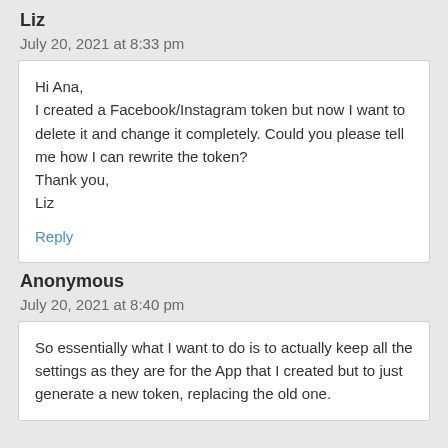Liz
July 20, 2021 at 8:33 pm
Hi Ana,
I created a Facebook/Instagram token but now I want to delete it and change it completely. Could you please tell me how I can rewrite the token?
Thank you,
Liz
Reply
Anonymous
July 20, 2021 at 8:40 pm
So essentially what I want to do is to actually keep all the settings as they are for the App that I created but to just generate a new token, replacing the old one.